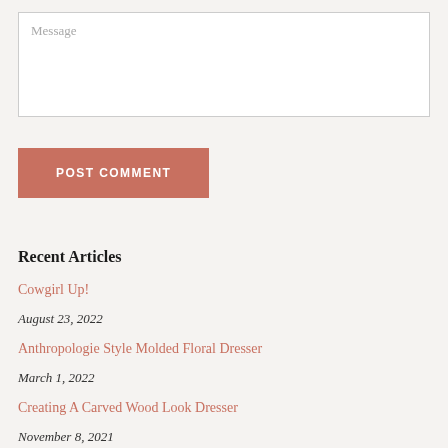Message
POST COMMENT
Recent Articles
Cowgirl Up!
August 23, 2022
Anthropologie Style Molded Floral Dresser
March 1, 2022
Creating A Carved Wood Look Dresser
November 8, 2021